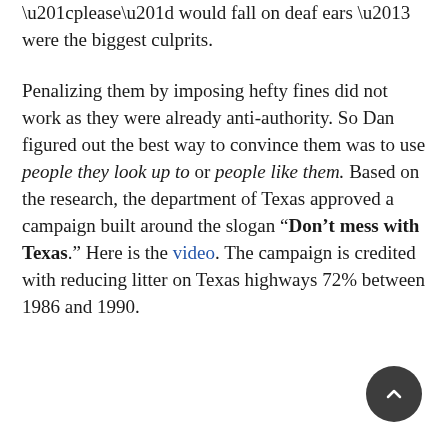“please” would fall on deaf ears – were the biggest culprits.
Penalizing them by imposing hefty fines did not work as they were already anti-authority. So Dan figured out the best way to convince them was to use people they look up to or people like them. Based on the research, the department of Texas approved a campaign built around the slogan “Don’t mess with Texas.” Here is the video. The campaign is credited with reducing litter on Texas highways 72% between 1986 and 1990.